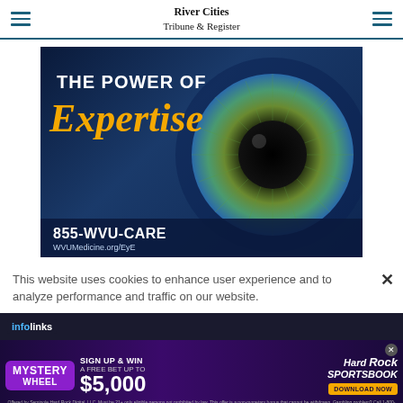River Cities Tribune & Register
[Figure (photo): WVU Medicine advertisement: 'THE POWER OF Expertise' with close-up eye image. Contact: 855-WVU-CARE, WVUMedicine.org/EyE]
This website uses cookies to enhance user experience and to analyze performance and traffic on our website.
[Figure (infographic): Infolinks bar with Hard Rock Sportsbook ad: Mystery Wheel - Sign Up & Win A Free Bet Up To $5,000. Download Now button.]